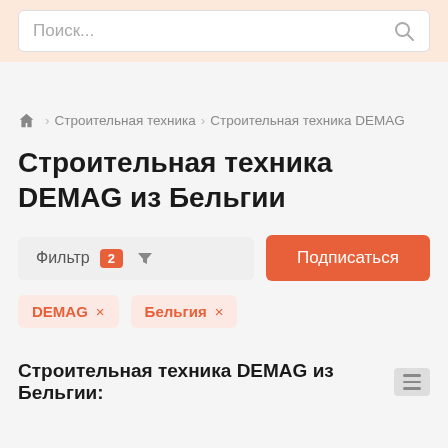Поиск...
🏠 > Строительная техника > Строительная техника DEMAG
Строительная техника DEMAG из Бельгии
Фильтр 2 ▼
Подписаться
DEMAG ×
Бельгия ×
Строительная техника DEMAG из Бельгии: